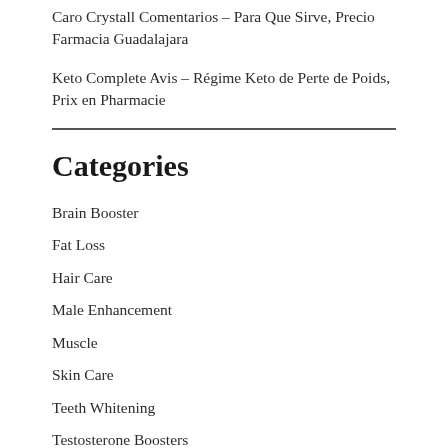Caro Crystall Comentarios – Para Que Sirve, Precio Farmacia Guadalajara
Keto Complete Avis – Régime Keto de Perte de Poids, Prix en Pharmacie
Categories
Brain Booster
Fat Loss
Hair Care
Male Enhancement
Muscle
Skin Care
Teeth Whitening
Testosterone Boosters
Uncategorized
Wellness